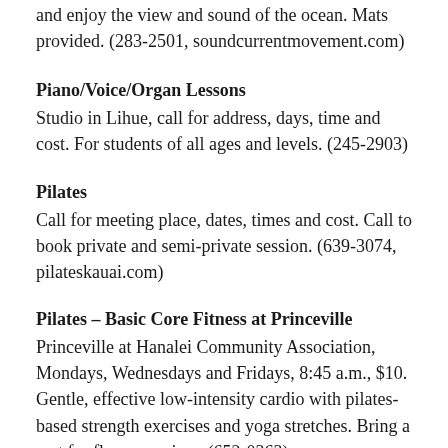and enjoy the view and sound of the ocean. Mats provided. (283-2501, soundcurrentmovement.com)
Piano/Voice/Organ Lessons
Studio in Lihue, call for address, days, time and cost. For students of all ages and levels. (245-2903)
Pilates
Call for meeting place, dates, times and cost. Call to book private and semi-private session. (639-3074, pilateskauai.com)
Pilates – Basic Core Fitness at Princeville
Princeville at Hanalei Community Association, Mondays, Wednesdays and Fridays, 8:45 a.m., $10. Gentle, effective low-intensity cardio with pilates-based strength exercises and yoga stretches. Bring a mat for floor exercises. (652-0363)